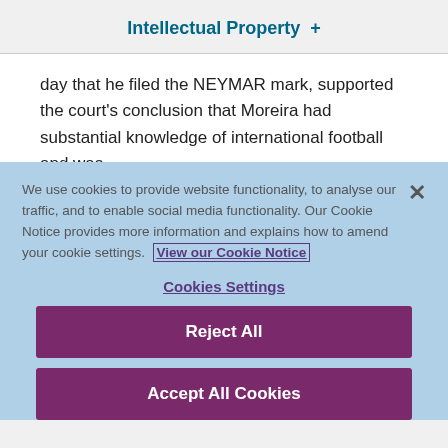Intellectual Property  +
day that he filed the NEYMAR mark, supported the court's conclusion that Moreira had substantial knowledge of international football and was contrived to exploit it.
We use cookies to provide website functionality, to analyse our traffic, and to enable social media functionality. Our Cookie Notice provides more information and explains how to amend your cookie settings. View our Cookie Notice
Cookies Settings
Reject All
Accept All Cookies